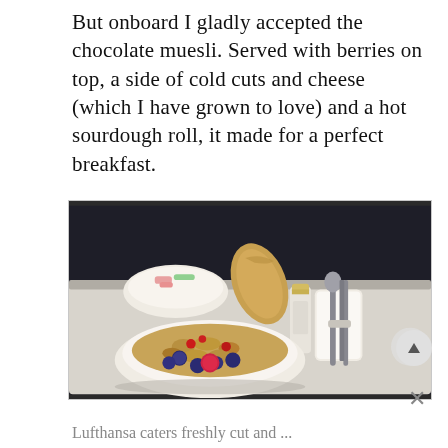But onboard I gladly accepted the chocolate muesli. Served with berries on top, a side of cold cuts and cheese (which I have grown to love) and a hot sourdough roll, it made for a perfect breakfast.
[Figure (photo): Airline breakfast tray with a bowl of chocolate muesli topped with berries (blueberries, raspberries, cranberries), a smaller bowl of fresh fruit, a sourdough roll, a small bottle, and rolled napkin with cutlery.]
Lufthansa caters freshly cut and ...